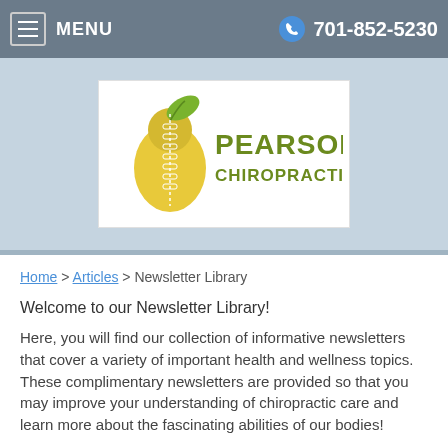MENU  701-852-5230
[Figure (logo): Pearson Chiropractic logo with a pear shape featuring a spine down the middle and green leaf on top, with text PEARSON CHIROPRACTIC in olive/dark yellow-green]
Home > Articles > Newsletter Library
Welcome to our Newsletter Library!
Here, you will find our collection of informative newsletters that cover a variety of important health and wellness topics. These complimentary newsletters are provided so that you may improve your understanding of chiropractic care and learn more about the fascinating abilities of our bodies!